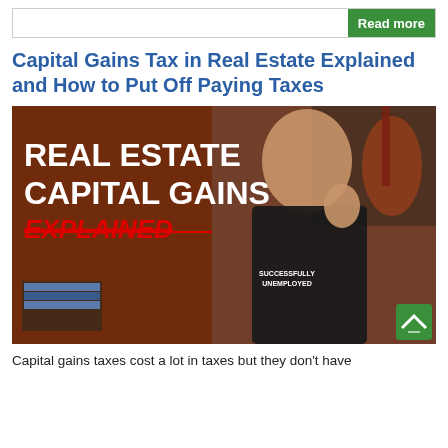Read more
Capital Gains Tax in Real Estate Explained and How to Put Off Paying Taxes
[Figure (photo): Thumbnail image showing a man in a 'Successfully Unemployed' t-shirt standing in front of a brick wall background with text 'REAL ESTATE CAPITAL GAINS EXPLAINED']
Capital gains taxes cost a lot in taxes but they don't have